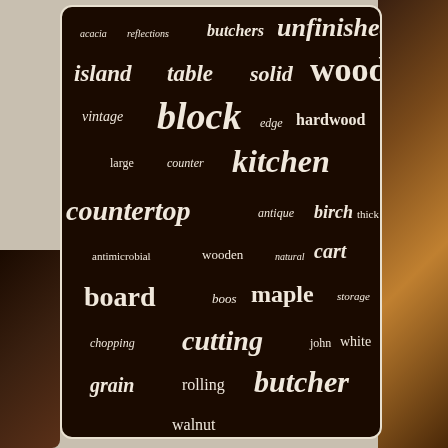[Figure (infographic): Word cloud on dark brown background showing keywords related to kitchen butcher block and wood countertops. Words vary in size indicating frequency/importance. Words include: acacia, reflections, butchers, unfinished, island, table, solid, wood, vintage, block, edge, hardwood, large, counter, kitchen, countertop, antique, birch, thick, antimicrobial, wooden, natural, cart, board, boos, maple, storage, chopping, cutting, john, white, grain, rolling, butcher, walnut]